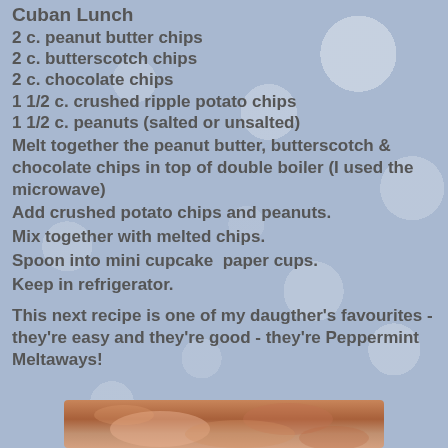Cuban Lunch
2 c. peanut butter chips
2 c. butterscotch chips
2 c. chocolate chips
1 1/2 c. crushed ripple potato chips
1 1/2 c. peanuts (salted or unsalted)
Melt together the peanut butter, butterscotch & chocolate chips in top of double boiler (I used the microwave)
Add crushed potato chips and peanuts.
Mix together with melted chips.
Spoon into mini cupcake  paper cups.
Keep in refrigerator.
This next recipe is one of my daugther's favourites - they're easy and they're good - they're Peppermint Meltaways!
[Figure (photo): Bottom strip showing a photo of food items, partially visible at bottom of page]